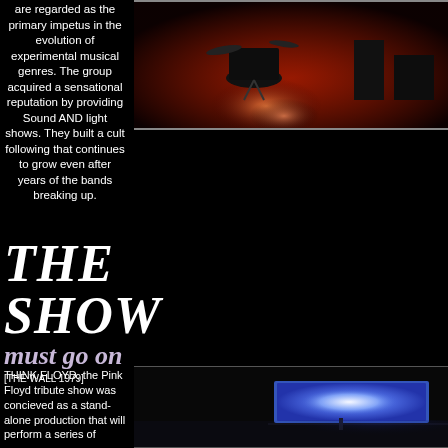are regarded as the primary impetus in the evolution of experimental musical genres. The group acquired a sensational reputation by providing Sound AND light shows. They built a cult following that continues to grow even after years of the bands breaking up.
[Figure (photo): Concert stage photo showing drums and band equipment lit with red/warm stage lighting]
THE SHOW
must go on
[THE WALL 1979]
THINK FLOYD, the Pink Floyd tribute show was concieved as a stand-alone production that will perform a series of
[Figure (photo): Dark concert stage photo with a bright blue/purple rectangular projection of light visible on stage]